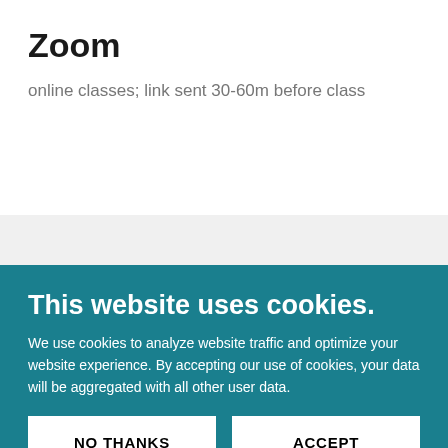Zoom
online classes; link sent 30-60m before class
This website uses cookies.
We use cookies to analyze website traffic and optimize your website experience. By accepting our use of cookies, your data will be aggregated with all other user data.
NO THANKS
ACCEPT